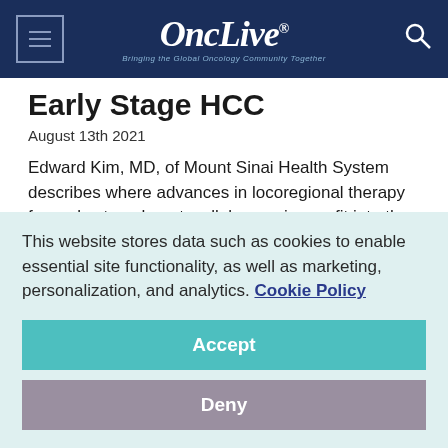[Figure (logo): OncLive logo with tagline 'Bringing the Global Oncology Community Together' on dark navy header]
Early Stage HCC
August 13th 2021
Edward Kim, MD, of Mount Sinai Health System describes where advances in locoregional therapy for early-stage hepatocellular carcinoma fit into the therapeutic landscape.
Diagnosing Early Stage HCC
This website stores data such as cookies to enable essential site functionality, as well as marketing, personalization, and analytics. Cookie Policy
Accept
Deny